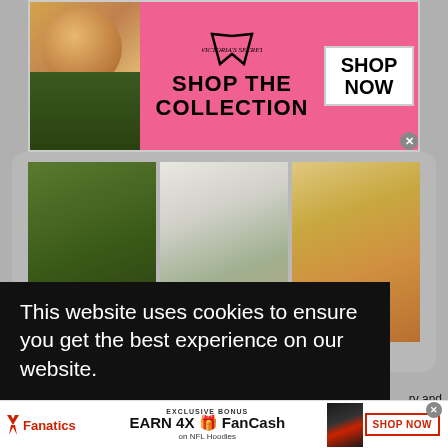[Figure (screenshot): Victoria's Secret advertisement banner with model, VS logo, 'SHOP THE COLLECTION' text and 'SHOP NOW' button on pink background]
[Figure (photo): Three paparazzi-style photos of a woman in different outfits including a green dress and a green bikini]
Comment section
This website uses cookies to ensure you get the best experience on our website.
Learn more
[Figure (screenshot): Fanatics advertisement banner: EXCLUSIVE BONUS EARN 4X FanCash on NFL Hoodies with SHOP NOW button and hoodie image]